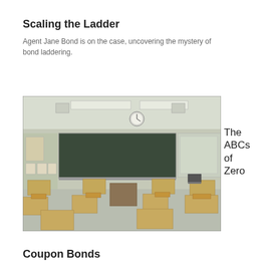Scaling the Ladder
Agent Jane Bond is on the case, uncovering the mystery of bond laddering.
[Figure (photo): Empty classroom with rows of wooden desks and chairs, a blackboard at the front, a clock on the wall, and fluorescent lighting on the ceiling.]
The ABCs of Zero
Coupon Bonds